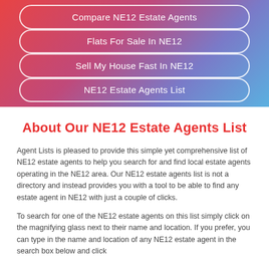Compare NE12 Estate Agents
Flats For Sale In NE12
Sell My House Fast In NE12
NE12 Estate Agents List
About Our NE12 Estate Agents List
Agent Lists is pleased to provide this simple yet comprehensive list of NE12 estate agents to help you search for and find local estate agents operating in the NE12 area. Our NE12 estate agents list is not a directory and instead provides you with a tool to be able to find any estate agent in NE12 with just a couple of clicks.
To search for one of the NE12 estate agents on this list simply click on the magnifying glass next to their name and location. If you prefer, you can type in the name and location of any NE12 estate agent in the search box below and click